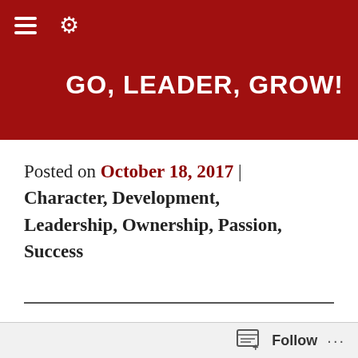GO, LEADER, GROW!
Posted on October 18, 2017 | Character, Development, Leadership, Ownership, Passion, Success
Seek Clarity